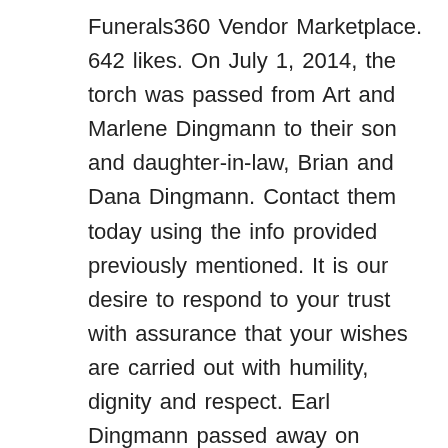Funerals360 Vendor Marketplace. 642 likes. On July 1, 2014, the torch was passed from Art and Marlene Dingmann to their son and daughter-in-law, Brian and Dana Dingmann. Contact them today using the info provided previously mentioned. It is our desire to respond to your trust with assurance that your wishes are carried out with humility, dignity and respect. Earl Dingmann passed away on December 19, 2020 at the age of 61 in Anoka, Minnesota. View upcoming funeral services, obituaries, and funeral flowers for Williams Dingmann Family Funeral Homes-Becker in Becker, MN , US. 324 2nd Avenue South Sauk Rapids, MN 56379. 205 South Rum River Drive. Directly order flowers, view and sign the condolences book, share memories and more to celebrate lives of those dearly missed. A collection of answers to